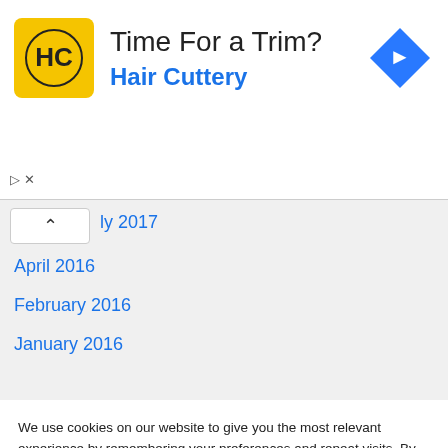[Figure (logo): Hair Cuttery advertisement banner with HC logo, text 'Time For a Trim?' and 'Hair Cuttery', and a blue navigation arrow icon]
April 2016
February 2016
January 2016
We use cookies on our website to give you the most relevant experience by remembering your preferences and repeat visits. By clicking “Accept”, you consent to the use of ALL the cookies.
Do not sell my personal information.